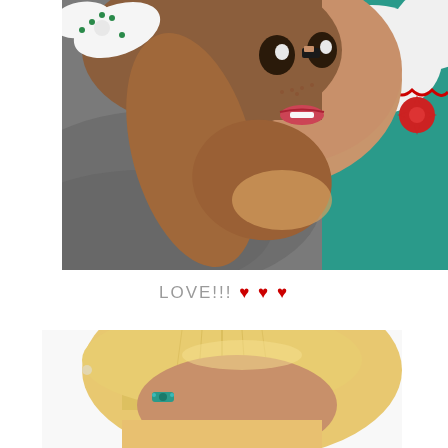[Figure (photo): Close-up photo of a doll with brown hair, freckles, a polka-dot bow, a hearing aid, and a teal dress with white collar and red flower button, lying on a textured grey surface.]
LOVE!!! ♥ ♥ ♥
[Figure (photo): Partial photo of a blonde doll lying down, visible from forehead to shoulder, with a small teal hair clip, on a white background.]